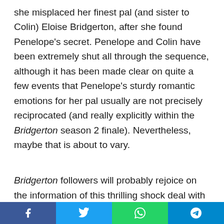she misplaced her finest pal (and sister to Colin) Eloise Bridgerton, after she found Penelope's secret. Penelope and Colin have been extremely shut all through the sequence, although it has been made clear on quite a few events that Penelope's sturdy romantic emotions for her pal usually are not precisely reciprocated (and really explicitly within the Bridgerton season 2 finale). Nevertheless, maybe that is about to vary.
Bridgerton followers will probably rejoice on the information of this thrilling shock deal with Penelope Featherington, as Coughlan's character has lengthy been a favourite of many. Given her intriguing backstory and the way issues had been left between Penelope and Eloise, it would actually be
Social share bar: Facebook, Twitter, WhatsApp, Telegram